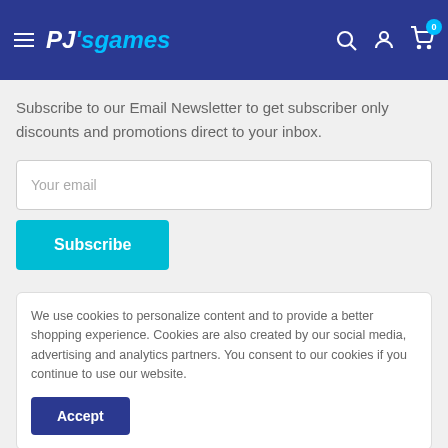PJ's games — navigation header with search, account, and cart icons
Subscribe to our Email Newsletter to get subscriber only discounts and promotions direct to your inbox.
Your email
Subscribe
We use cookies to personalize content and to provide a better shopping experience. Cookies are also created by our social media, advertising and analytics partners. You consent to our cookies if you continue to use our website.
Accept
[Figure (other): Payment method icons row: AMEX, Apple Pay, Diners, Discover, Google Pay, Mastercard, PayPal, Shop Pay, Visa]